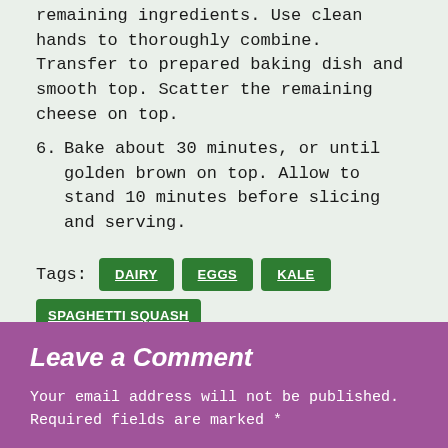remaining ingredients. Use clean hands to thoroughly combine. Transfer to prepared baking dish and smooth top. Scatter the remaining cheese on top.
6. Bake about 30 minutes, or until golden brown on top. Allow to stand 10 minutes before slicing and serving.
Tags: DAIRY  EGGS  KALE  SPAGHETTI SQUASH
Leave a Comment
Your email address will not be published. Required fields are marked *